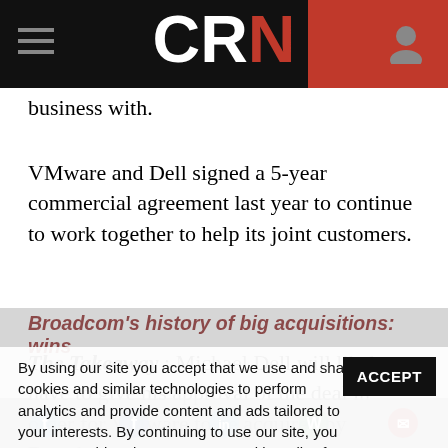CRN
business with.
VMware and Dell signed a 5-year commercial agreement last year to continue to work together to help its joint customers.
The Takeaway : Michael Dell will likely have to give his approval of the deal in order for VMware to be acquired by Broadcom.
Broadcom's history of big acquisitions: wins
By using our site you accept that we use and share cookies and similar technologies to perform analytics and provide content and ads tailored to your interests. By continuing to use our site, you consent to this. Please see our Cookie Policy for more information.